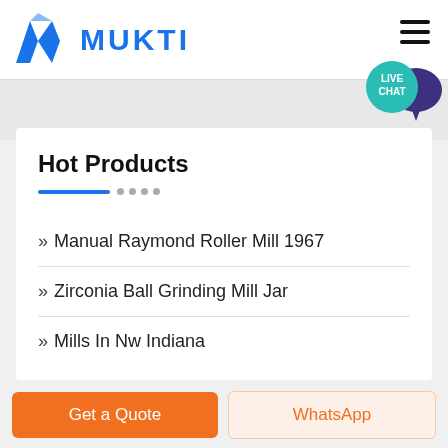MUKTI
Hot Products
» Manual Raymond Roller Mill 1967
» Zirconia Ball Grinding Mill Jar
» Mills In Nw Indiana
Get a Quote
WhatsApp